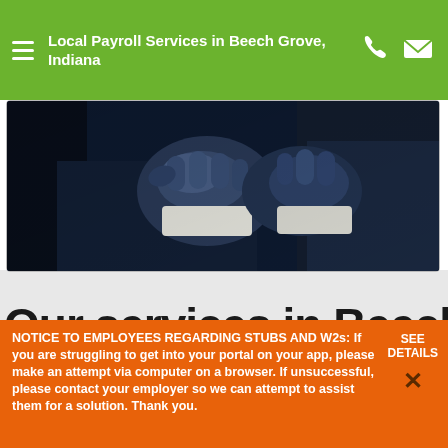Local Payroll Services in Beech Grove, Indiana
[Figure (photo): Close-up photo of two people in business attire performing a fist bump or handshake gesture against a dark background]
Our services in Beech Grove...
NOTICE TO EMPLOYEES REGARDING STUBS AND W2s: If you are struggling to get into your portal on your app, please make an attempt via computer on a browser. If unsuccessful, please contact your employer so we can attempt to assist them for a solution. Thank you.